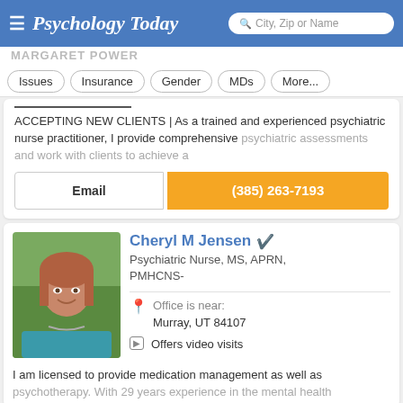Psychology Today — City, Zip or Name search
Issues
Insurance
Gender
MDs
More...
ACCEPTING NEW CLIENTS | As a trained and experienced psychiatric nurse practitioner, I provide comprehensive psychiatric assessments and work with clients to achieve a
Email
(385) 263-7193
Cheryl M Jensen
Psychiatric Nurse, MS, APRN, PMHCNS-
Office is near: Murray, UT 84107
Offers video visits
I am licensed to provide medication management as well as psychotherapy. With 29 years experience in the mental health